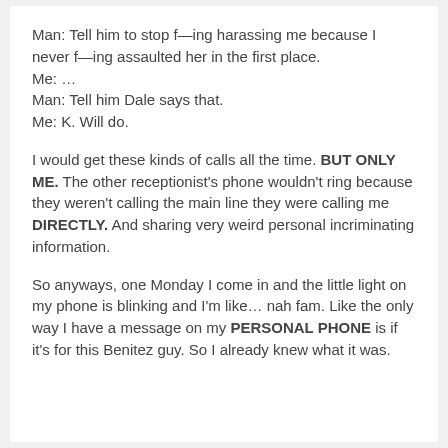Man: Tell him to stop f—ing harassing me because I never f—ing assaulted her in the first place.
Me: …
Man: Tell him Dale says that.
Me: K. Will do.
I would get these kinds of calls all the time. BUT ONLY ME. The other receptionist's phone wouldn't ring because they weren't calling the main line they were calling me DIRECTLY. And sharing very weird personal incriminating information.
So anyways, one Monday I come in and the little light on my phone is blinking and I'm like… nah fam. Like the only way I have a message on my PERSONAL PHONE is if it's for this Benitez guy. So I already knew what it was.